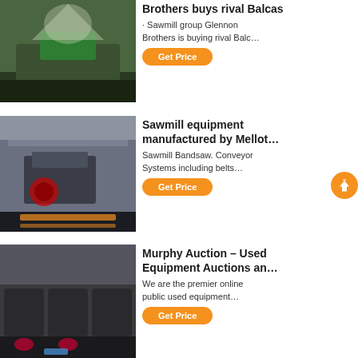[Figure (photo): Industrial crushing/mining equipment outdoors with dust cloud, green machinery]
Brothers buys rival Balcas
· Sawmill group Glennon Brothers is buying rival Balc…
Get Price
[Figure (photo): Large industrial sawmill/harvesting machine inside a warehouse facility]
Sawmill equipment manufactured by Mellot…
Sawmill Bandsaw. Conveyor Systems including belts….
Get Price
[Figure (photo): Row of mobile crushing machines on tracks in industrial yard]
Murphy Auction – Used Equipment Auctions an…
We are the premier online public used equipment…
Get Price